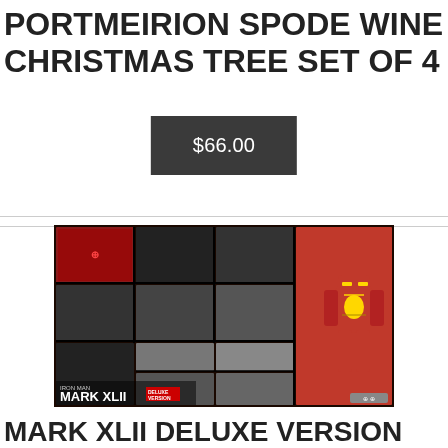PORTMEIRION SPODE WINE GLASSES CHRISTMAS TREE SET OF 4 4339908
$66.00
[Figure (photo): Product photo of Iron Man Mark XLII Deluxe Version action figure box set, showing multiple poses and accessories of the red and gold Iron Man armor figure]
MARK XLII DELUXE VERSION